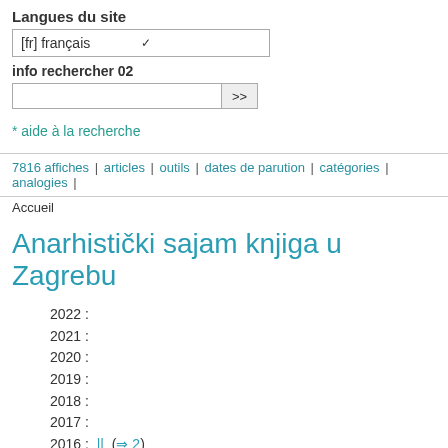Langues du site
[fr] français
info rechercher 02
* aide à la recherche
7816 affiches | articles | outils | dates de parution | catégories | analogies |
Accueil
Anarhistički sajam knjiga u Zagrebu
2022 :
2021 :
2020 :
2019 :
2018 :
2017 :
2016 :  ||  (⇒ 2)
2015 :
2014 :